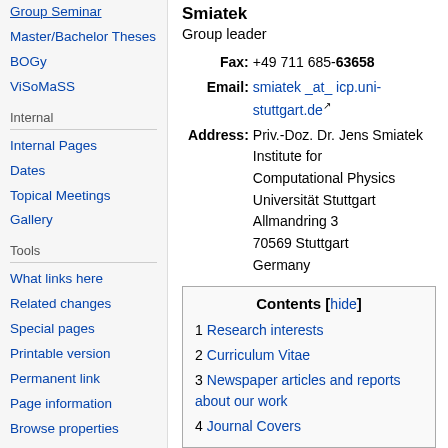Group Seminar
Master/Bachelor Theses
BOGy
ViSoMaSS
Internal
Internal Pages
Dates
Topical Meetings
Gallery
Tools
What links here
Related changes
Special pages
Printable version
Permanent link
Page information
Browse properties
Smiatek
Group leader
Fax: +49 711 685-63658
Email: smiatek _at_ icp.uni-stuttgart.de
Address: Priv.-Doz. Dr. Jens Smiatek
Institute for Computational Physics
Universität Stuttgart
Allmandring 3
70569 Stuttgart
Germany
| Contents | [hide] |
| --- | --- |
| 1 | Research interests |
| 2 | Curriculum Vitae |
| 3 | Newspaper articles and reports about our work |
| 4 | Journal Covers |